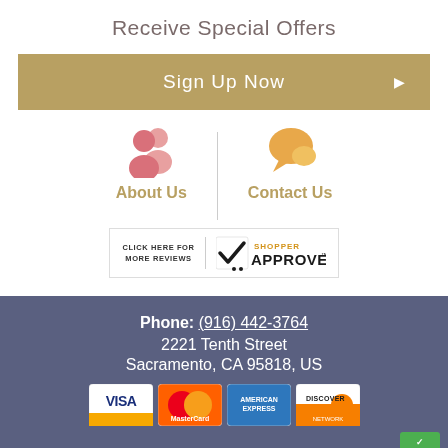Receive Special Offers
Sign Up Now ▶
[Figure (illustration): Two icons side by side: a pink people/about-us icon on the left and an orange speech-bubble/contact-us icon on the right, with About Us and Contact Us labels]
[Figure (logo): Shopper Approved badge with text CLICK HERE FOR MORE REVIEWS and a checkmark logo]
Phone: (916) 442-3764
2221 Tenth Street
Sacramento, CA 95818, US
[Figure (illustration): Payment card logos: Visa, MasterCard, American Express, Discover]